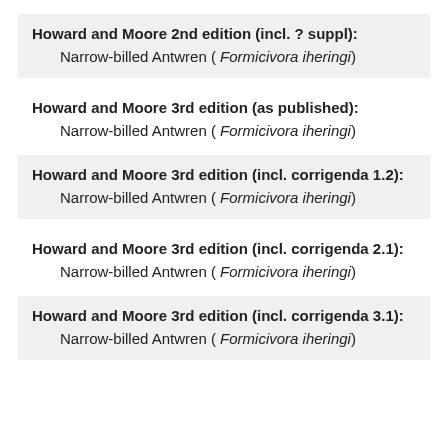Howard and Moore 2nd edition (incl. ? suppl): Narrow-billed Antwren ( Formicivora iheringi)
Howard and Moore 3rd edition (as published): Narrow-billed Antwren ( Formicivora iheringi)
Howard and Moore 3rd edition (incl. corrigenda 1.2): Narrow-billed Antwren ( Formicivora iheringi)
Howard and Moore 3rd edition (incl. corrigenda 2.1): Narrow-billed Antwren ( Formicivora iheringi)
Howard and Moore 3rd edition (incl. corrigenda 3.1): Narrow-billed Antwren ( Formicivora iheringi)